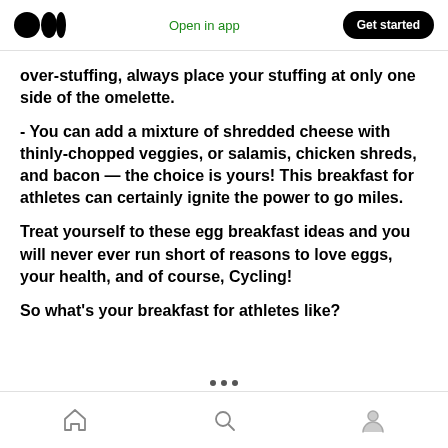Open in app | Get started
over-stuffing, always place your stuffing at only one side of the omelette.
- You can add a mixture of shredded cheese with thinly-chopped veggies, or salamis, chicken shreds, and bacon — the choice is yours! This breakfast for athletes can certainly ignite the power to go miles.
Treat yourself to these egg breakfast ideas and you will never ever run short of reasons to love eggs, your health, and of course, Cycling!
So what's your breakfast for athletes like?
Home | Search | Profile